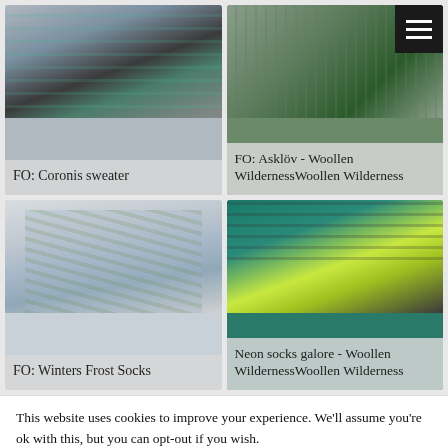[Figure (photo): Photo of person wearing a dark grey sweater with teal/mint stripe detail at yoke]
FO: Coronis sweater
[Figure (photo): Photo of dark green knitted fabric with leaf pattern, with hamburger menu icon overlay]
FO: Asklöv - Woollen WildernessWoollen Wilderness
[Figure (photo): Photo of multicolored knitted socks in blue, green, yellow tones laid on white surface]
FO: Winters Frost Socks
[Figure (photo): Photo of neon yellow-green and dark grey striped socks against teal background]
Neon socks galore - Woollen WildernessWoollen Wilderness
This website uses cookies to improve your experience. We'll assume you're ok with this, but you can opt-out if you wish.
Cookie settings   ACCEPT